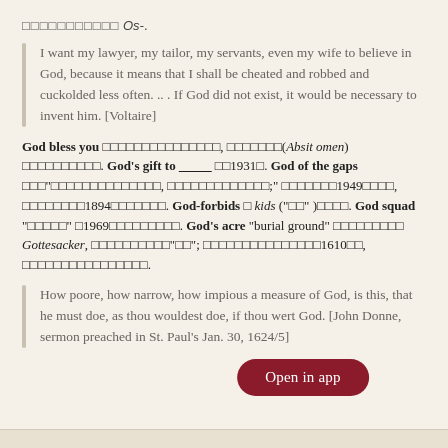□□□□□□□□□□□ Os-.
I want my lawyer, my tailor, my servants, even my wife to believe in God, because it means that I shall be cheated and robbed and cuckolded less often. ... If God did not exist, it would be necessary to invent him. [Voltaire]
God bless you □□□□□□□□□□□□□□□, □□□□□□□(Absit omen) □□□□□□□□□□. God's gift to _____ □□1931□. God of the gaps □□□"□□□□□□□□□□□□□, □□□□□□□□□□□□;" □□□□□□□1949□□□□, □□□□□□□□1894□□□□□□□. God-forbids □ kids ("□□" )□□□□. God squad "□□□□□" □1969□□□□□□□□□. God's acre "burial ground" □□□□□□□□□ Gottesacker, □□□□□□□□□□"□□"; □□□□□□□□□□□□□□□1610□□, □□□□□□□□□□□□□□□□.
How poore, how narrow, how impious a measure of God, is this, that he must doe, as thou wouldest doe, if thou wert God. [John Donne, sermon preached in St. Paul's Jan. 30, 1624/5]